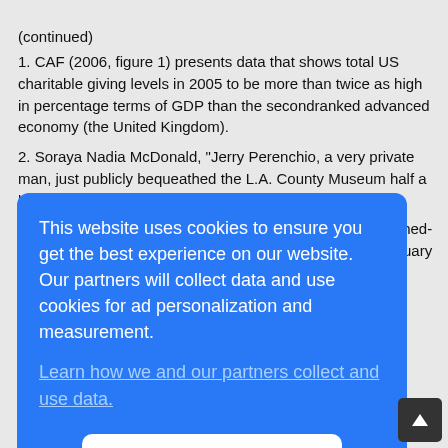(continued)
1. CAF (2006, figure 1) presents data that shows total US charitable giving levels in 2005 to be more than twice as high in percentage terms of GDP than the secondranked advanced economy (the United Kingdom).
2. Soraya Nadia McDonald, “Jerry Perenchio, a very private man, just publicly bequeathed the L.A. County Museum half a billion dollars worth of art,” Washington Post,
[Figure (screenshot): Cookie consent dialog overlay with blue background. Text reads: 'This website uses cookies to ensure you get the best experience on our website. Our partners will collect data and use cookies for ad personalization and measurement.' A link reads 'Learn how we and our partners collect and use data.' An OK button is shown at the bottom.]